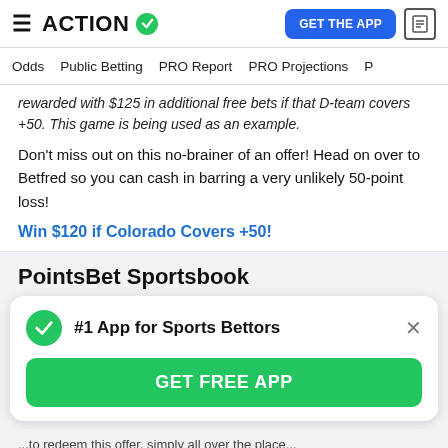ACTION (logo) | GET THE APP
Odds | Public Betting | PRO Report | PRO Projections
rewarded with $125 in additional free bets if that D-team covers +50. This game is being used as an example.
Don't miss out on this no-brainer of an offer! Head on over to Betfred so you can cash in barring a very unlikely 50-point loss!
Win $120 if Colorado Covers +50!
PointsBet Sportsbook
[Figure (other): App promotion card with green checkmark, title '#1 App for Sports Bettors', close button, and green GET FREE APP button]
...to redeem this offer, simply all over the place...